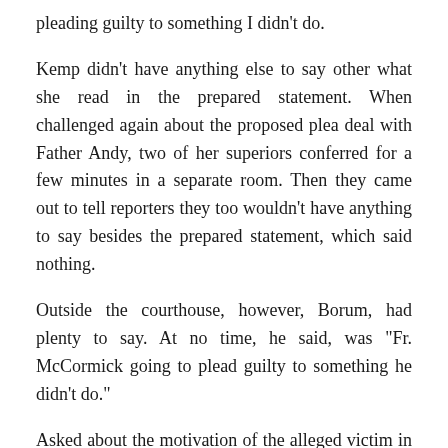pleading guilty to something I didn't do.
Kemp didn't have anything else to say other what she read in the prepared statement. When challenged again about the proposed plea deal with Father Andy, two of her superiors conferred for a few minutes in a separate room. Then they came out to tell reporters they too wouldn't have anything to say besides the prepared statement, which said nothing.
Outside the courthouse, however, Borum, had plenty to say. At no time, he said, was "Fr. McCormick going to plead guilty to something he didn't do."
Asked about the motivation of the alleged victim in the case, Borum declined to comment, other than to say, "What I do know was that his testimony wasn't true."
Borum disclosed that his client passed a polygraph test about the alleged victim's allegations.